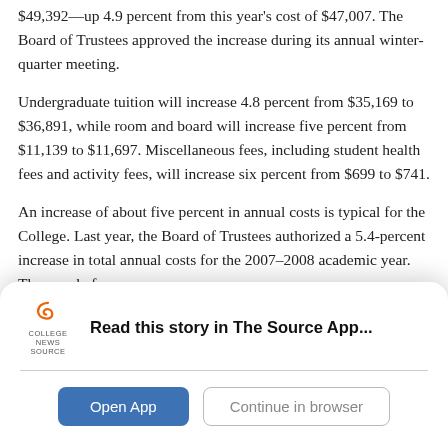$49,392—up 4.9 percent from this year's cost of $47,007. The Board of Trustees approved the increase during its annual winter-quarter meeting.
Undergraduate tuition will increase 4.8 percent from $35,169 to $36,891, while room and board will increase five percent from $11,139 to $11,697. Miscellaneous fees, including student health fees and activity fees, will increase six percent from $699 to $741.
An increase of about five percent in annual costs is typical for the College. Last year, the Board of Trustees authorized a 5.4-percent increase in total annual costs for the 2007–2008 academic year. The year before saw
[Figure (infographic): College News Source app promotion card with logo, bold text 'Read this story in The Source App...', a horizontal divider, and two buttons: 'Open App' (blue) and 'Continue in browser' (outlined).]